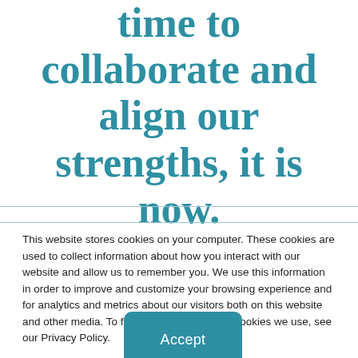time to collaborate and align our strengths, it is now.
This website stores cookies on your computer. These cookies are used to collect information about how you interact with our website and allow us to remember you. We use this information in order to improve and customize your browsing experience and for analytics and metrics about our visitors both on this website and other media. To find out more about the cookies we use, see our Privacy Policy.
Accept